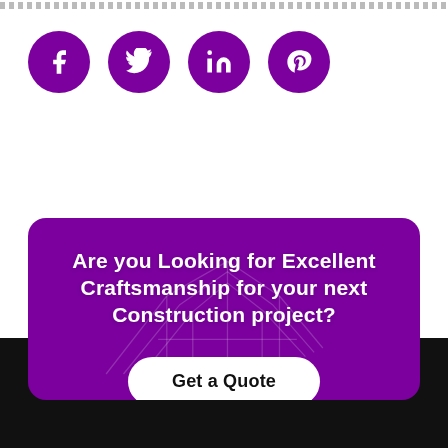[Figure (other): Four purple circular social media icon buttons: Facebook, Twitter, LinkedIn, Pinterest]
[Figure (infographic): Purple rounded card with construction building outline background, containing headline text 'Are you Looking for Excellent Craftsmanship for your next Construction project?' and a white 'Get a Quote' button]